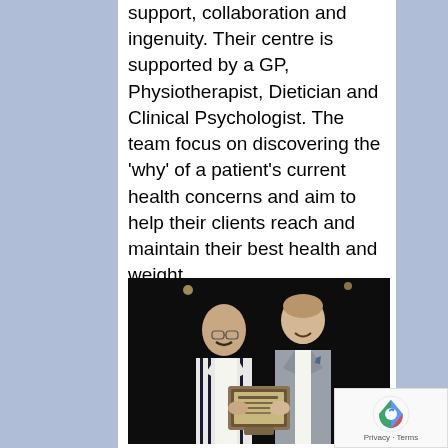support, collaboration and ingenuity. Their centre is supported by a GP, Physiotherapist, Dietician and Clinical Psychologist. The team focus on discovering the 'why' of a patient's current health concerns and aim to help their clients reach and maintain their best health and weight.
[Figure (photo): Two men standing together at a formal event, one wearing a striped blazer and one wearing a grey suit jacket, holding a framed award plaque. Dark background.]